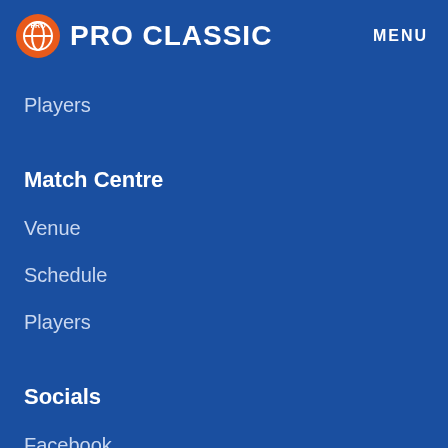PRO CLASSIC   MENU
Players
Match Centre
Venue
Schedule
Players
Socials
Facebook
Instagram